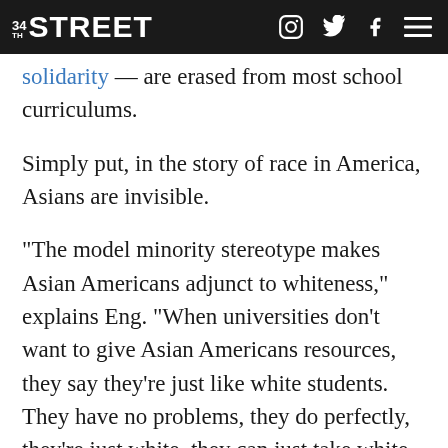34TH STREET
solidarity — are erased from most school curriculums.
Simply put, in the story of race in America, Asians are invisible.
“The model minority stereotype makes Asian Americans adjunct to whiteness,” explains Eng. “When universities don’t want to give Asian Americans resources, they say they’re just like white students. They have no problems, they do perfectly, they’re just white, they can just take white classes. And the moment that [Asian American students] start to make demands, that’s when the administration suddenly feels the need to take a